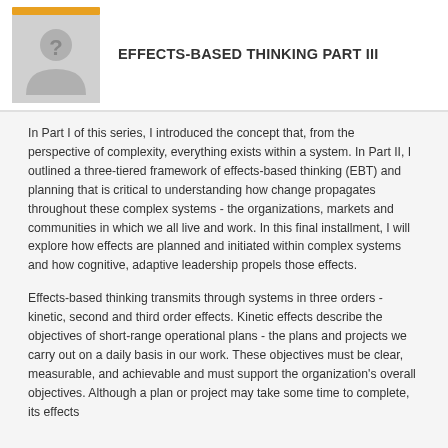EFFECTS-BASED THINKING PART III
In Part I of this series, I introduced the concept that, from the perspective of complexity, everything exists within a system. In Part II, I outlined a three-tiered framework of effects-based thinking (EBT) and planning that is critical to understanding how change propagates throughout these complex systems - the organizations, markets and communities in which we all live and work. In this final installment, I will explore how effects are planned and initiated within complex systems and how cognitive, adaptive leadership propels those effects.
Effects-based thinking transmits through systems in three orders - kinetic, second and third order effects. Kinetic effects describe the objectives of short-range operational plans - the plans and projects we carry out on a daily basis in our work. These objectives must be clear, measurable, and achievable and must support the organization's overall objectives. Although a plan or project may take some time to complete, its effects